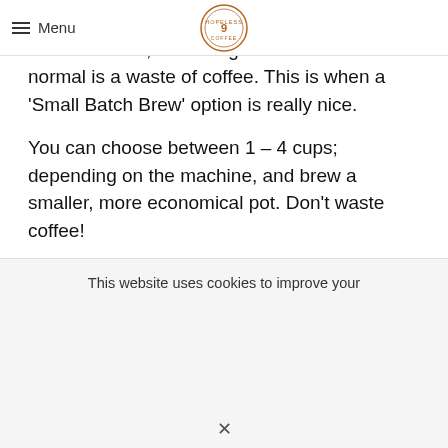Menu
Merely adding less coffee grinds will result in weaker coffee, and using less water than normal is a waste of coffee. This is when a 'Small Batch Brew' option is really nice.
You can choose between 1 – 4 cups; depending on the machine, and brew a smaller, more economical pot. Don't waste coffee!
Contents
This website uses cookies to improve your